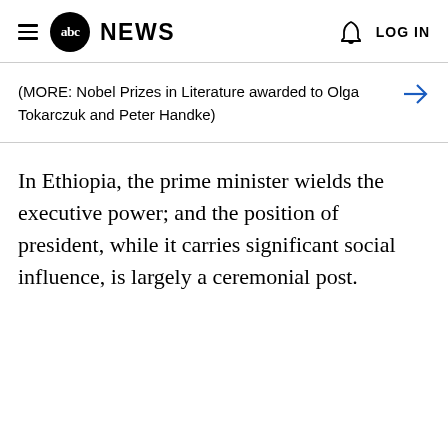abc NEWS   LOG IN
(MORE: Nobel Prizes in Literature awarded to Olga Tokarczuk and Peter Handke)
In Ethiopia, the prime minister wields the executive power; and the position of president, while it carries significant social influence, is largely a ceremonial post.